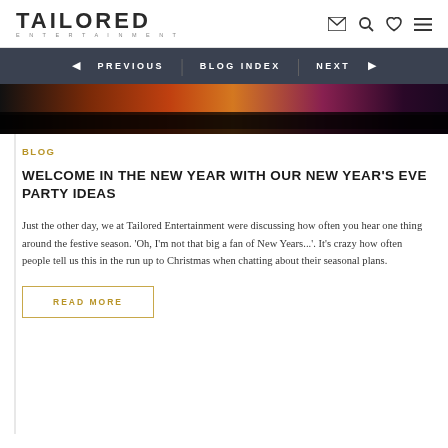TAILORED ENTERTAINMENT
[Figure (screenshot): Navigation bar with PREVIOUS, BLOG INDEX, NEXT links on dark background]
[Figure (photo): Hero image showing colorful stage lighting with crowd silhouettes]
BLOG
WELCOME IN THE NEW YEAR WITH OUR NEW YEAR'S EVE PARTY IDEAS
Just the other day, we at Tailored Entertainment were discussing how often you hear one thing around the festive season. 'Oh, I'm not that big a fan of New Years...'. It's crazy how often people tell us this in the run up to Christmas when chatting about their seasonal plans.
READ MORE